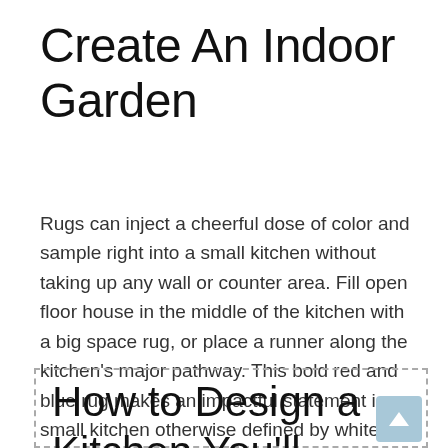Create An Indoor Garden
Rugs can inject a cheerful dose of color and sample right into a small kitchen without taking up any wall or counter area. Fill open floor house in the middle of the kitchen with a big space rug, or place a runner along the kitchen’s major pathway. This bold red and blue rug makes an impactful statement in a small kitchen otherwise defined by white cabinetry and stainless-steel appliances.
How to Design a Kitchen You’ll Never